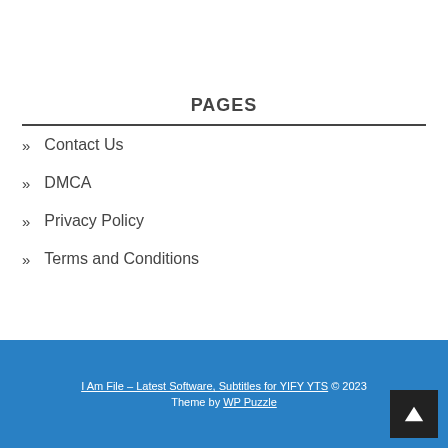PAGES
» Contact Us
» DMCA
» Privacy Policy
» Terms and Conditions
I Am File – Latest Software, Subtitles for YIFY YTS © 2023 Theme by WP Puzzle